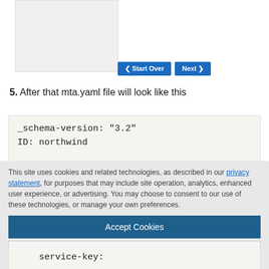[Figure (screenshot): Gray placeholder box for a screenshot/image above navigation buttons]
[Figure (screenshot): Navigation buttons: Start Over and Next]
5. After that mta.yaml file will look like this
_schema-version: "3.2"
ID: northwind
This site uses cookies and related technologies, as described in our privacy statement, for purposes that may include site operation, analytics, enhanced user experience, or advertising. You may choose to consent to our use of these technologies, or manage your own preferences.
Accept Cookies
More Information
Privacy Policy | Powered by: TrustArc
service-key: